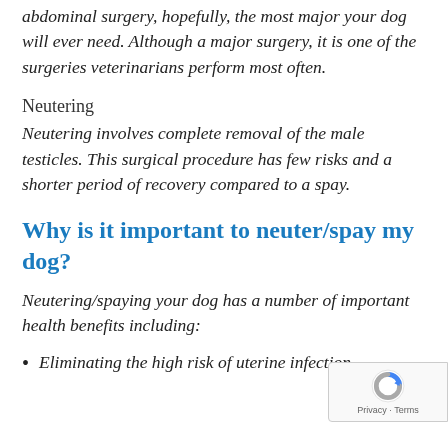abdominal surgery, hopefully, the most major your dog will ever need. Although a major surgery, it is one of the surgeries veterinarians perform most often.
Neutering
Neutering involves complete removal of the male testicles. This surgical procedure has few risks and a shorter period of recovery compared to a spay.
Why is it important to neuter/spay my dog?
Neutering/spaying your dog has a number of important health benefits including:
Eliminating the high risk of uterine infection